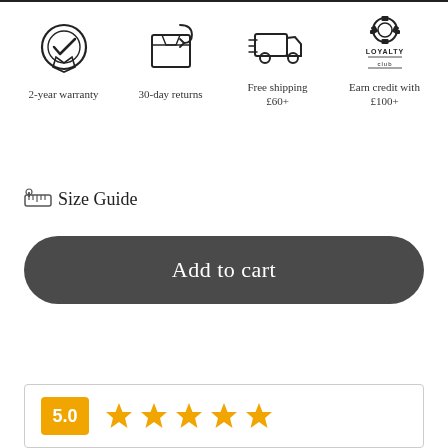[Figure (infographic): Four icons in a row: warranty badge with checkmark, package/box with return arrow, delivery truck with speed lines, and Loyalty Club badge logo]
2-year warranty
30-day returns
Free shipping
£60+
Earn credit with
£100+
Size Guide
Add to cart
5.0